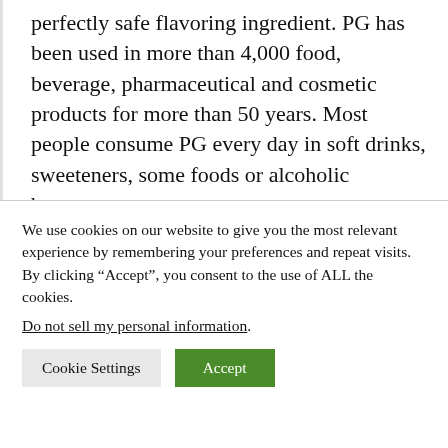perfectly safe flavoring ingredient. PG has been used in more than 4,000 food, beverage, pharmaceutical and cosmetic products for more than 50 years. Most people consume PG every day in soft drinks, sweeteners, some foods or alcoholic beverages.
The ingredient is “generally recognized as safe (GRAS)” by the U.S. Food and Drug Administration up to 50 grams per KG. In
We use cookies on our website to give you the most relevant experience by remembering your preferences and repeat visits. By clicking “Accept”, you consent to the use of ALL the cookies.
Do not sell my personal information.